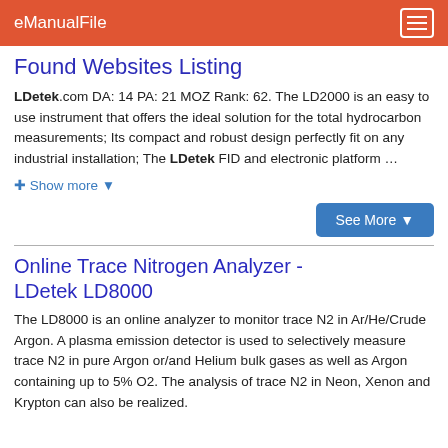eManualFile
Found Websites Listing
LDetek.com DA: 14 PA: 21 MOZ Rank: 62. The LD2000 is an easy to use instrument that offers the ideal solution for the total hydrocarbon measurements; Its compact and robust design perfectly fit on any industrial installation; The LDetek FID and electronic platform …
+ Show more ▾
See More ▾
Online Trace Nitrogen Analyzer - LDetek LD8000
The LD8000 is an online analyzer to monitor trace N2 in Ar/He/Crude Argon. A plasma emission detector is used to selectively measure trace N2 in pure Argon or/and Helium bulk gases as well as Argon containing up to 5% O2. The analysis of trace N2 in Neon, Xenon and Krypton can also be realized.